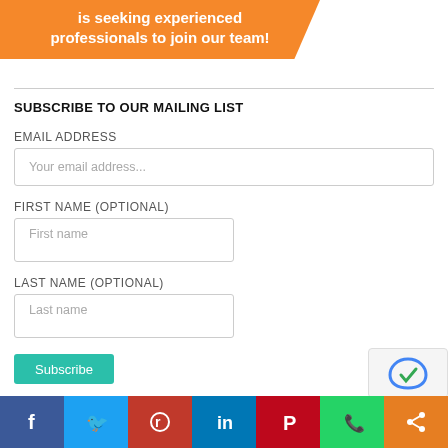[Figure (illustration): Orange diagonal banner with white text: 'is seeking experienced professionals to join our team!']
SUBSCRIBE TO OUR MAILING LIST
EMAIL ADDRESS
Your email address...
FIRST NAME (OPTIONAL)
First name
LAST NAME (OPTIONAL)
Last name
Subscribe
[Figure (other): reCAPTCHA badge]
[Figure (infographic): Social share bar with icons for Facebook, Twitter, Reddit, LinkedIn, Pinterest, WhatsApp, Share]